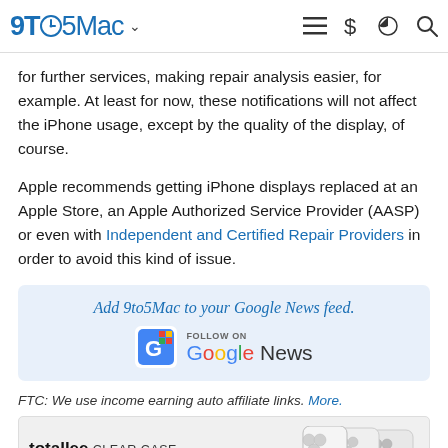9to5Mac
for further services, making repair analysis easier, for example. At least for now, these notifications will not affect the iPhone usage, except by the quality of the display, of course.
Apple recommends getting iPhone displays replaced at an Apple Store, an Apple Authorized Service Provider (AASP) or even with Independent and Certified Repair Providers in order to avoid this kind of issue.
[Figure (infographic): Add 9to5Mac to your Google News feed. Follow on Google News badge with colorful G icon.]
FTC: We use income earning auto affiliate links. More.
[Figure (infographic): totallee CLEAR CASE advertisement: Branding-free and almost invisible! Shows three white iPhone models from behind.]